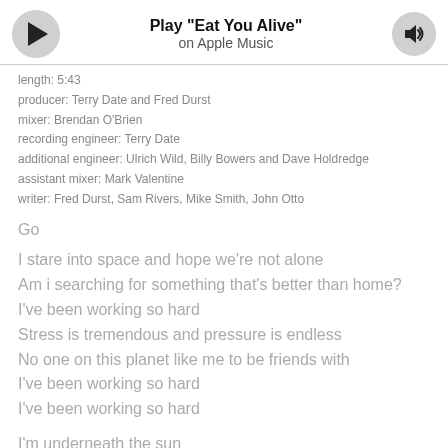[Figure (other): Music player bar with play button, title 'Play "Eat You Alive"' on Apple Music, and speaker/volume button]
length: 5:43
producer: Terry Date and Fred Durst
mixer: Brendan O'Brien
recording engineer: Terry Date
additional engineer: Ulrich Wild, Billy Bowers and Dave Holdredge
assistant mixer: Mark Valentine
writer: Fred Durst, Sam Rivers, Mike Smith, John Otto
Go
I stare into space and hope we're not alone
Am i searching for something that's better than home?
I've been working so hard
Stress is tremendous and pressure is endless
No one on this planet like me to be friends with
I've been working so hard
I've been working so hard
I'm underneath the sun
And I'm underneath the gun
I'm losing my mind and i know there's no remedy
I've become a failure who's living on memories
I've been working so hard
Loneliness can't be cured with no medicine
Look to the stars so they'll straighten my head again
I've been working so hard